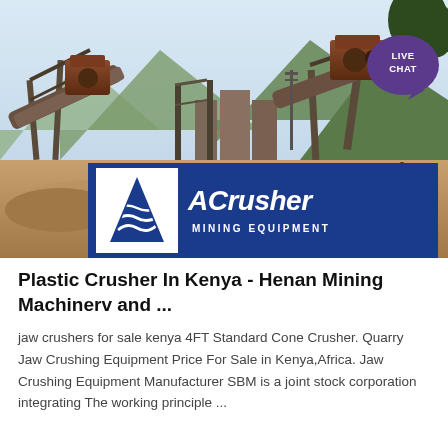[Figure (photo): Mining/crushing plant equipment with conveyor belts and heavy machinery at an open-pit site, with mountains in the background. ACrusher Mining Equipment logo overlaid at the bottom. Live Chat button in upper right corner.]
Plastic Crusher In Kenya - Henan Mining Machinerv and ...
jaw crushers for sale kenya 4FT Standard Cone Crusher. Quarry Jaw Crushing Equipment Price For Sale in Kenya,Africa. Jaw Crushing Equipment Manufacturer SBM is a joint stock corporation integrating The working principle ...